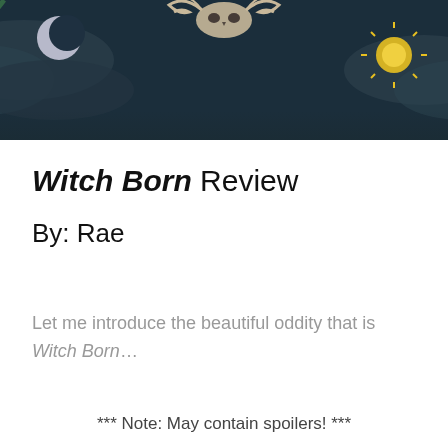[Figure (illustration): Dark fantasy book cover art cropped at top: night sky scene with moon crescent, palm/tropical leaves, clouds or smoke swirls, a skull/antler crown at top center, and a golden sun symbol on the right side. Dark teal/dark green color palette.]
Witch Born Review
By: Rae
Let me introduce the beautiful oddity that is Witch Born…
*** Note: May contain spoilers! ***